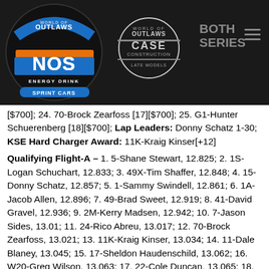[Figure (logo): World of Outlaws NOS Energy Drink Sprint Cars logo and CASE Construction Late Models logo with 'BOTH SERIES' text on dark header bar]
[$700]; 24. 70-Brock Zearfoss [17][$700]; 25. G1-Hunter Schuerenberg [18][$700]; Lap Leaders: Donny Schatz 1-30; KSE Hard Charger Award: 11K-Kraig Kinser[+12]
Qualifying Flight-A – 1. 5-Shane Stewart, 12.825; 2. 1S-Logan Schuchart, 12.833; 3. 49X-Tim Shaffer, 12.848; 4. 15-Donny Schatz, 12.857; 5. 1-Sammy Swindell, 12.861; 6. 1A-Jacob Allen, 12.896; 7. 49-Brad Sweet, 12.919; 8. 41-David Gravel, 12.936; 9. 2M-Kerry Madsen, 12.942; 10. 7-Jason Sides, 13.01; 11. 24-Rico Abreu, 13.017; 12. 70-Brock Zearfoss, 13.021; 13. 11K-Kraig Kinser, 13.034; 14. 11-Dale Blaney, 13.045; 15. 17-Sheldon Haudenschild, 13.062; 16. W20-Greg Wilson, 13.063; 17. 22-Cole Duncan, 13.065; 18. 19-Brent Marks, 13.086; 19. 13-Paul McMahan, 13.091; 20. A79-Brandon Wimmer, 13.109; 21. 98H-Dave Blaney,